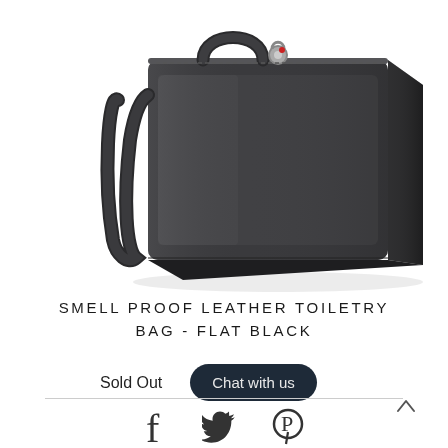[Figure (photo): A dark flat black leather toiletry bag with a carry handle and combination lock, photographed on white background from a 3/4 angle.]
SMELL PROOF LEATHER TOILETRY BAG - FLAT BLACK
Sold Out
[Figure (other): Chat with us button (dark rounded button)]
[Figure (other): Social sharing icons: Facebook, Twitter, Pinterest]